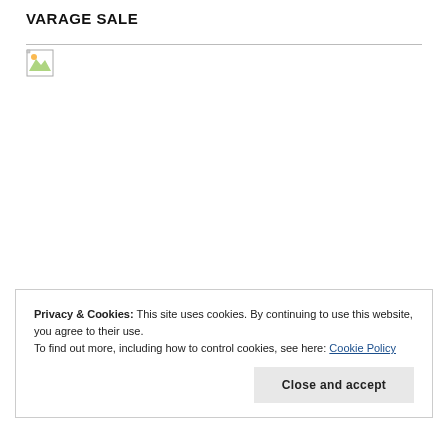VARAGE SALE
[Figure (illustration): Broken image placeholder icon with a horizontal rule line extending to the right]
Privacy & Cookies: This site uses cookies. By continuing to use this website, you agree to their use.
To find out more, including how to control cookies, see here: Cookie Policy
Close and accept